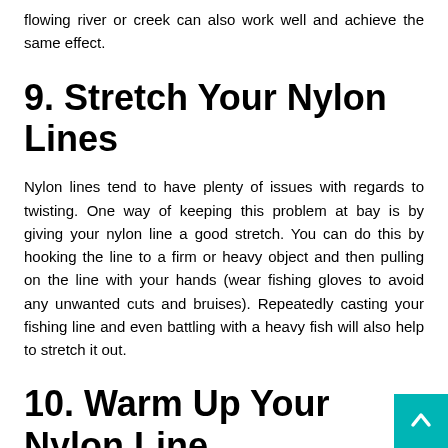flowing river or creek can also work well and achieve the same effect.
9. Stretch Your Nylon Lines
Nylon lines tend to have plenty of issues with regards to twisting. One way of keeping this problem at bay is by giving your nylon line a good stretch. You can do this by hooking the line to a firm or heavy object and then pulling on the line with your hands (wear fishing gloves to avoid any unwanted cuts and bruises). Repeatedly casting your fishing line and even battling with a heavy fish will also help to stretch it out.
10. Warm Up Your Nylon Line
Some anglers also soak their nylon lines in warm water b